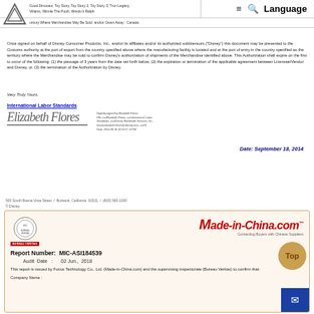Good Dinosaur, Toy Story, Toy Story 2, Toy Story 3, Tron Legacy, Villains, Winnie The Pooh, Wreck-It Ralph
untury Where Merchandise May Be Sold and/or Given Away: Canada
Once signed on behalf of Disney Consumer Products, Inc., and/or its affiliates and/or its authorized sublicensors ("Disney") this document may be presented to the Customs authority at the port of export from the country specified above where the manufacturing facility is located and at the port of entry in the country specified as the territory where the Merchandise may be sold to confirm Disney's authorization of shipments of the Merchandise identified above. This Authorization shall expire on the first to occur of the following: (1) the passage of 3 years from the date set forth below, (2) the expiration or termination of the applicable agreement between Licensee/Vendor and Disney, or, (3) the termination of the Authorization by Disney.
Very Truly Yours,
International Labor Standards
[Figure (other): Handwritten signature of Elizabeth Flores with digital signature certificate details]
Date: September 18, 2014
500 South Buena Vista Street / Burbank, California 91521 / (818) 560-1000
© Disney
Report Number: MIC-ASI184539
Audit Date : 02 Jun., 2018
This report is issued by Focus Technology Co., Ltd. (Made-in-China.com) and the supervising inspectorate (Bureau Veritas) to confirm that:
Company Name: